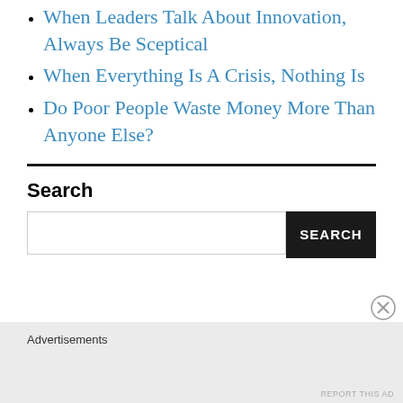When Leaders Talk About Innovation, Always Be Sceptical
When Everything Is A Crisis, Nothing Is
Do Poor People Waste Money More Than Anyone Else?
Search
Advertisements